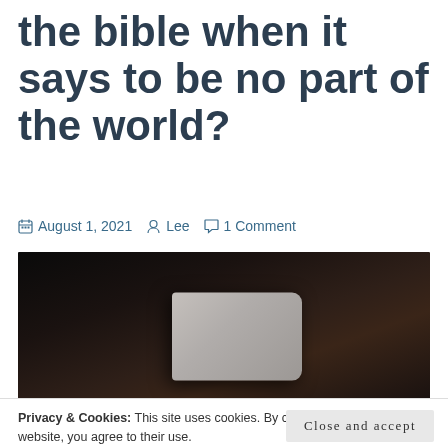the bible when it says to be no part of the world?
August 1, 2021   Lee   1 Comment
[Figure (photo): Dark wooden background with an open Bible or book visible in the center, showing a light gray cover against a dark brown wood-grain background.]
Privacy & Cookies: This site uses cookies. By continuing to use this website, you agree to their use.
To find out more, including how to control cookies, see here: Cookie Policy
Close and accept